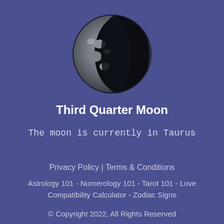[Figure (illustration): Third quarter moon phase image showing left half illuminated and right half in shadow, circular photo of the moon against a dark background]
Third Quarter Moon
The moon is currently in Taurus
Privacy Policy | Terms & Conditions
Astrology 101 - Numerology 101 - Tarot 101 - Love Compatibility Calculator - Zodiac Signs
© Copyright 2022, All Rights Reserved